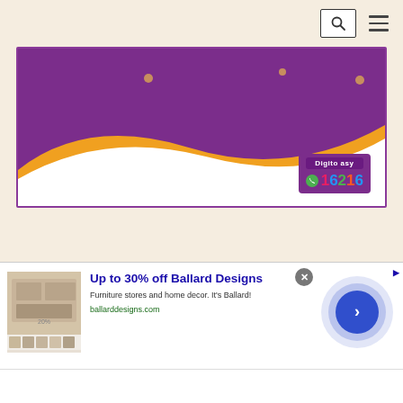[Figure (screenshot): Website top navigation bar with search icon (magnifying glass) and hamburger menu icon on cream/beige background]
[Figure (illustration): Purple and orange branded banner with decorative dots and wave design, showing phone number 16216 with colored digits on a purple background with an orange wave. Includes 'Digito asy' label.]
[Figure (screenshot): Advertisement banner: 'Up to 30% off Ballard Designs - Furniture stores and home decor. It's Ballard! ballarddesigns.com' with furniture image thumbnail, close button, animated circle button, and AdChoices icon.]